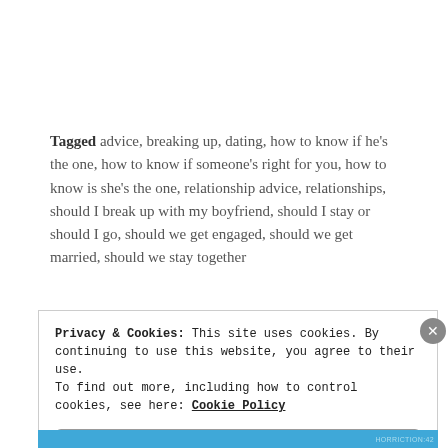Tagged advice, breaking up, dating, how to know if he's the one, how to know if someone's right for you, how to know is she's the one, relationship advice, relationships, should I break up with my boyfriend, should I stay or should I go, should we get engaged, should we get married, should we stay together
Privacy & Cookies: This site uses cookies. By continuing to use this website, you agree to their use. To find out more, including how to control cookies, see here: Cookie Policy
Close and accept